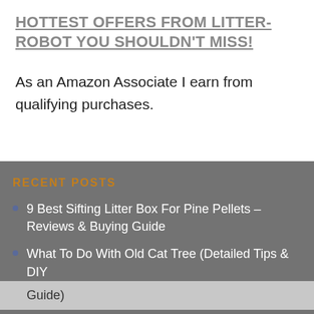HOTTEST OFFERS FROM LITTER-ROBOT YOU SHOULDN'T MISS!
As an Amazon Associate I earn from qualifying purchases.
RECENT POSTS
9 Best Sifting Litter Box For Pine Pellets – Reviews & Buying Guide
What To Do With Old Cat Tree (Detailed Tips & DIY Guide)